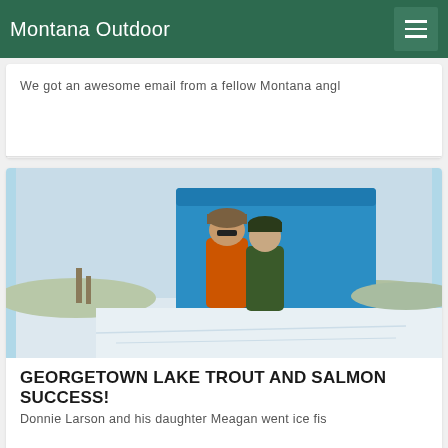Montana Outdoor
We got an awesome email from a fellow Montana angl
[Figure (photo): Two people (Donnie Larson and his daughter Meagan) standing in front of a bright blue pop-up ice fishing shelter on a frozen snow-covered lake. The person on the left wears an orange jacket and fur hat, the person on the right wears a dark green jacket and beanie. Snowy landscape and hills visible in the background.]
GEORGETOWN LAKE TROUT AND SALMON SUCCESS!
Donnie Larson and his daughter Meagan went ice fis